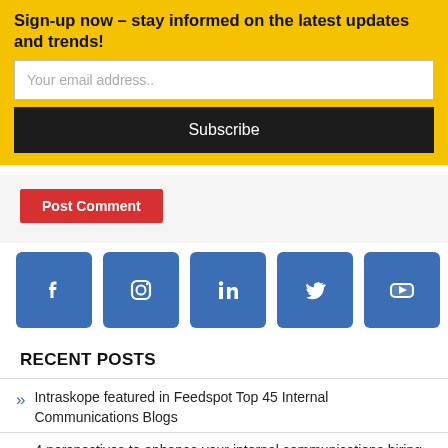Sign-up now – stay informed on the latest updates and trends!
Your email address..
Subscribe
Post Comment
[Figure (infographic): Five social media icons: Facebook, Instagram, LinkedIn, Twitter, YouTube — blue rounded square buttons with white icons.]
RECENT POSTS
Intraskope featured in Feedspot Top 45 Internal Communications Blogs
4 perspectives to enhance your internal communications hiring